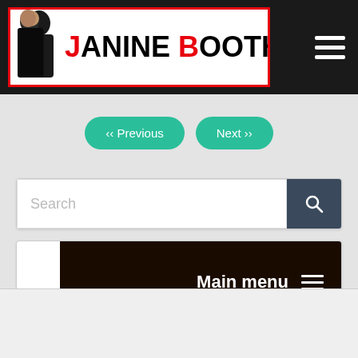JANINE BOOTH
‹‹ Previous
Next ››
Search
Main menu